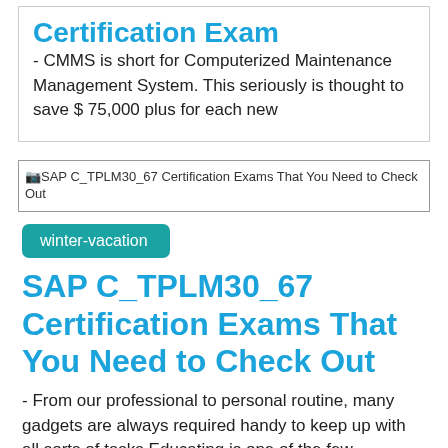Certification Exam
- CMMS is short for Computerized Maintenance Management System. This seriously is thought to save $ 75,000 plus for each new
[Figure (illustration): Broken image placeholder for SAP C_TPLM30_67 Certification Exams That You Need to Check Out]
winter-vacation
SAP C_TPLM30_67 Certification Exams That You Need to Check Out
- From our professional to personal routine, many gadgets are always required handy to keep up with all sorts of tasks.Educating is one of the few professions the